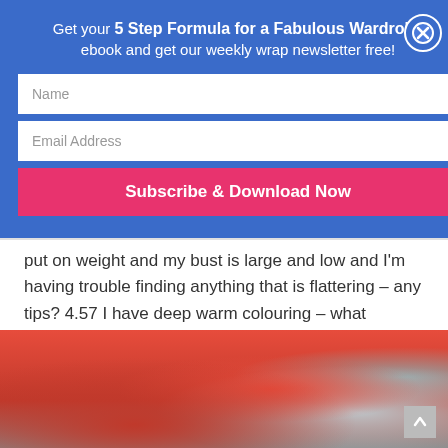Get your 5 Step Formula for a Fabulous Wardrobe ebook and get our weekly wrap newsletter free!
put on weight and my bust is large and low and I'm having trouble finding anything that is flattering – any tips? 4.57 I have deep warm colouring – what neutrals are best for my conservative work environment? 7.15 Why are there so few reds in my...
[Figure (photo): Photo of a person in a red outfit, outdoor setting with stone wall and greenery]